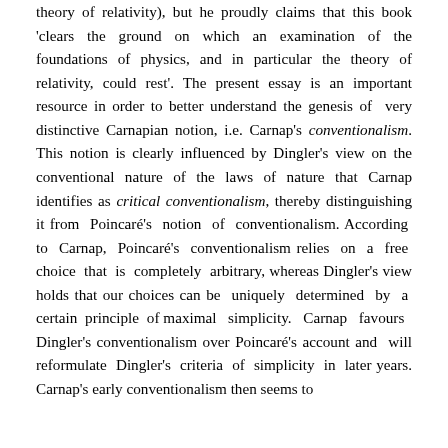theory of relativity), but he proudly claims that this book 'clears the ground on which an examination of the foundations of physics, and in particular the theory of relativity, could rest'. The present essay is an important resource in order to better understand the genesis of very distinctive Carnapian notion, i.e. Carnap's conventionalism. This notion is clearly influenced by Dingler's view on the conventional nature of the laws of nature that Carnap identifies as critical conventionalism, thereby distinguishing it from Poincaré's notion of conventionalism. According to Carnap, Poincaré's conventionalism relies on a free choice that is completely arbitrary, whereas Dingler's view holds that our choices can be uniquely determined by a certain principle of maximal simplicity. Carnap favours Dingler's conventionalism over Poincaré's account and will reformulate Dingler's criteria of simplicity in later years. Carnap's early conventionalism then seems to